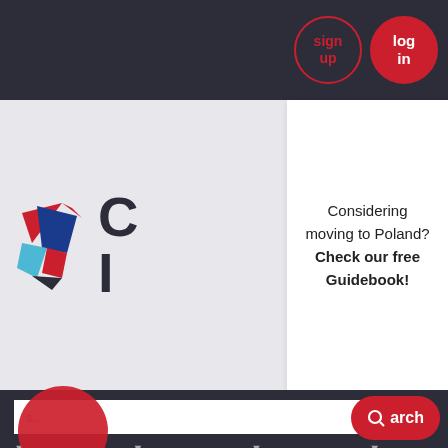sign up | log in
[Figure (logo): Geometric polygon logo with red, blue, and light-blue triangular shapes, next to large dark text letters 'C' and 'I']
Considering moving to Poland? Check our free Guidebook!
s...
[Figure (screenshot): Search bar with dropdown filters and red Search button with magnifying glass icon]